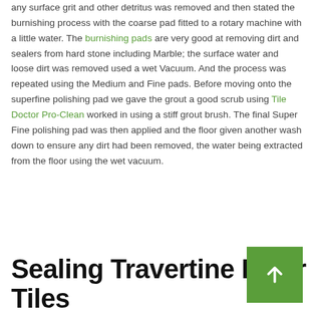any surface grit and other detritus was removed and then stated the burnishing process with the coarse pad fitted to a rotary machine with a little water. The burnishing pads are very good at removing dirt and sealers from hard stone including Marble; the surface water and loose dirt was removed used a wet Vacuum. And the process was repeated using the Medium and Fine pads. Before moving onto the superfine polishing pad we gave the grout a good scrub using Tile Doctor Pro-Clean worked in using a stiff grout brush. The final Super Fine polishing pad was then applied and the floor given another wash down to ensure any dirt had been removed, the water being extracted from the floor using the wet vacuum.
Sealing Travertine Floor Tiles